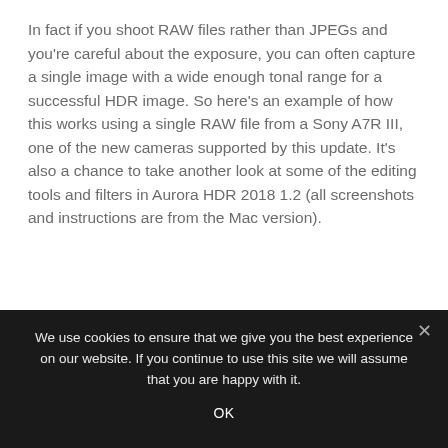In fact if you shoot RAW files rather than JPEGs and you're careful about the exposure, you can often capture a single image with a wide enough tonal range for a successful HDR image. So here's an example of how this works using a single RAW file from a Sony A7R III, one of the new cameras supported by this update. It's also a chance to take another look at some of the editing tools and filters in Aurora HDR 2018 1.2 (all screenshots and instructions are from the Mac version).
We use cookies to ensure that we give you the best experience on our website. If you continue to use this site we will assume that you are happy with it.
OK